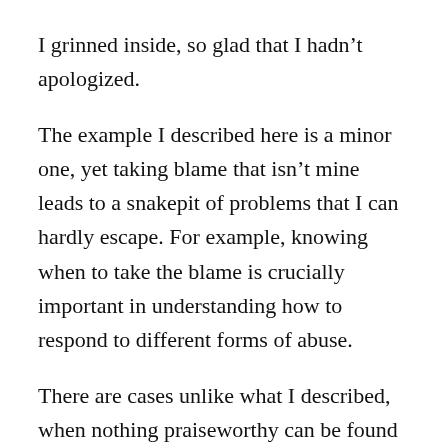I grinned inside, so glad that I hadn’t apologized.
The example I described here is a minor one, yet taking blame that isn’t mine leads to a snakepit of problems that I can hardly escape. For example, knowing when to take the blame is crucially important in understanding how to respond to different forms of abuse.
There are cases unlike what I described, when nothing praiseworthy can be found in what the other person has done. I need to be able to see each situation from God’s perspective.
Training my mind to look for God’s perspective of a situation instead of immediately blaming myself is not